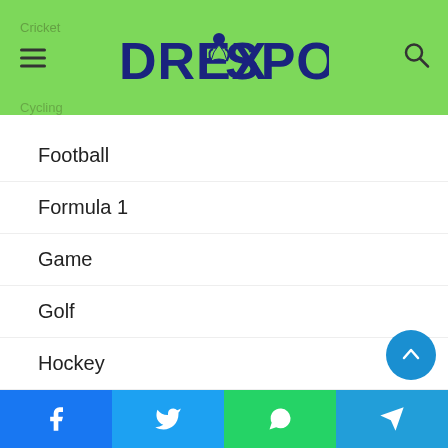DrexSports
Football
Formula 1
Game
Golf
Hockey
Marathon
Moto GP
News
Sports
Tennis
Facebook | Twitter | WhatsApp | Telegram